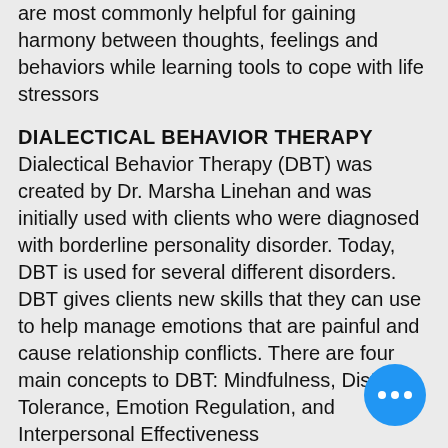are most commonly helpful for gaining harmony between thoughts, feelings and behaviors while learning tools to cope with life stressors
DIALECTICAL BEHAVIOR THERAPY
Dialectical Behavior Therapy (DBT) was created by Dr. Marsha Linehan and was initially used with clients who were diagnosed with borderline personality disorder. Today, DBT is used for several different disorders. DBT gives clients new skills that they can use to help manage emotions that are painful and cause relationship conflicts. There are four main concepts to DBT: Mindfulness, Distress Tolerance, Emotion Regulation, and Interpersonal Effectiveness
COGNITIVE PROCESSING THERAPY
Cognitive Processing Therapy (CPT) is